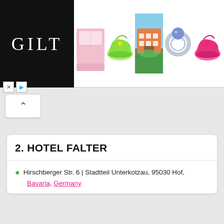[Figure (screenshot): GILT advertisement banner with logo on left and product images (bed linens, green sneakers, hotel/resort, ring, pink sneakers) on right]
2. HOTEL FALTER
Hirschberger Str. 6 | Stadtteil Unterkotzau, 95030 Hof, Bavaria, Germany